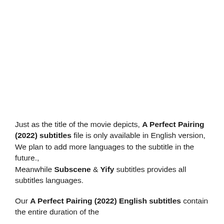Just as the title of the movie depicts, A Perfect Pairing (2022) subtitles file is only available in English version, We plan to add more languages to the subtitle in the future., Meanwhile Subscene & Yify subtitles provides all subtitles languages.
Our A Perfect Pairing (2022) English subtitles contain the entire duration of the